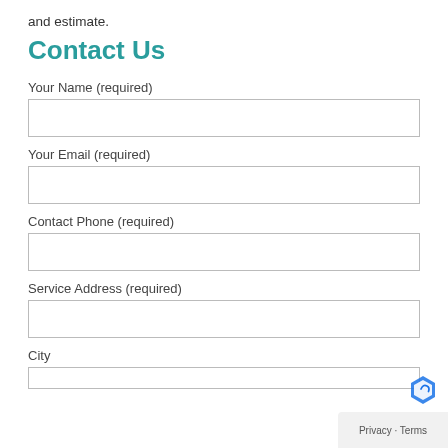and estimate.
Contact Us
Your Name (required)
Your Email (required)
Contact Phone (required)
Service Address (required)
City